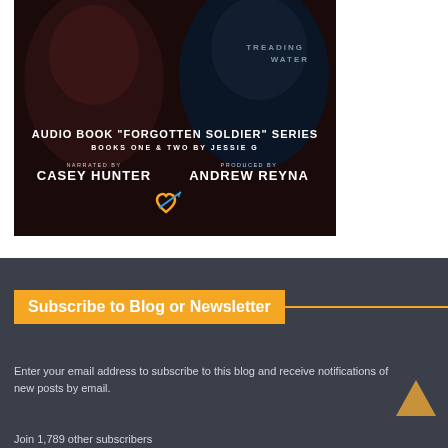[Figure (illustration): Book cover image for Audio Book 'Forgotten Soldier' Series, Books One and Two by Jessie G. Narrated by Casey Hunter, Produced by Andrew Reyna. Dark background with two faces and a logo.]
Subscribe to Blog or Newsletter
Enter your email address to subscribe to this blog and receive notifications of new posts by email.
Join 1,789 other subscribers